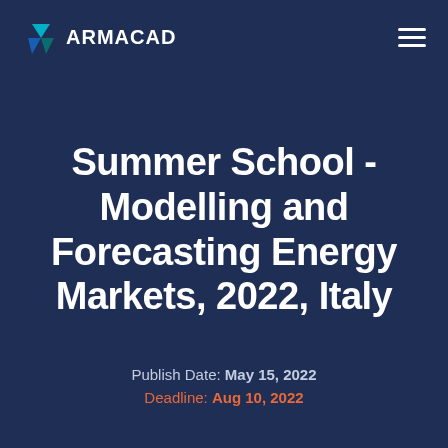ARMACAD
Summer School - Modelling and Forecasting Energy Markets, 2022, Italy
Publish Date: May 15, 2022
Deadline: Aug 10, 2022